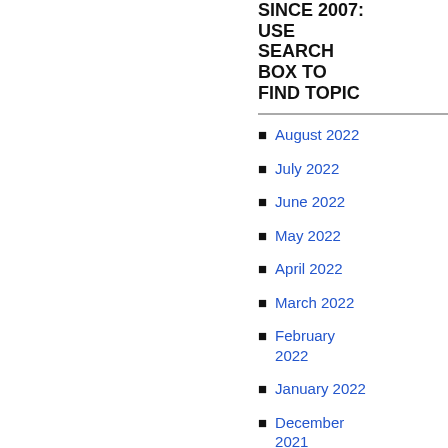SINCE 2007: USE SEARCH BOX TO FIND TOPIC
August 2022
July 2022
June 2022
May 2022
April 2022
March 2022
February 2022
January 2022
December 2021
November 2021
October 2021
September 2021